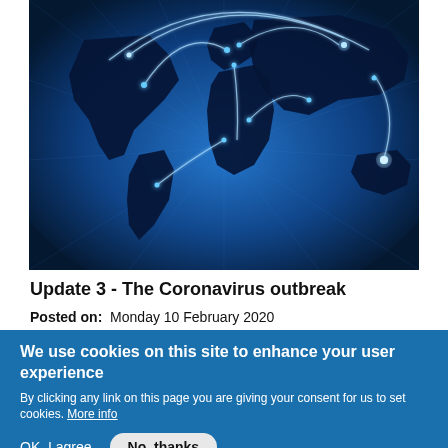[Figure (illustration): Blue glowing world map with network connection lines arcing between continents, on a dark blue background with radial light rays]
Update 3 - The Coronavirus outbreak
Posted on: Monday 10 February 2020
We use cookies on this site to enhance your user experience
By clicking any link on this page you are giving your consent for us to set cookies. More info
OK, I agree   No, thanks